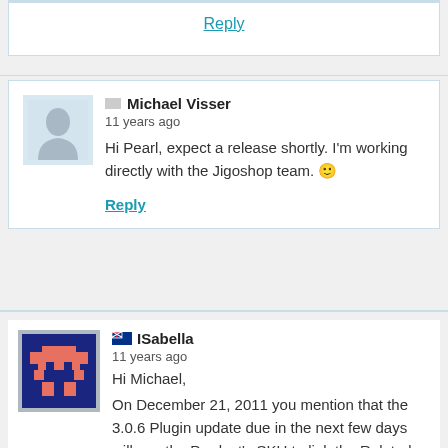Reply
Michael Visser
11 years ago
Hi Pearl, expect a release shortly. I'm working directly with the Jigoshop team. 🙂
Reply
ISabella
11 years ago
Hi Michael,
On December 21, 2011 you mention that the 3.0.6 Plugin update due in the next few days will use the Product's SKU to link the Related Products. For instance: